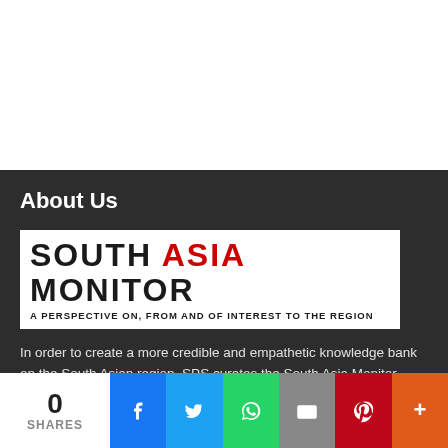[Figure (illustration): White blank top area]
About Us
[Figure (logo): South Asia Monitor logo — SOUTH ASIA MONITOR with tagline A PERSPECTIVE ON, FROM AND OF INTEREST TO THE REGION]
In order to create a more credible and empathetic knowledge bank on the South Asian region, SPS curates the South Asia Monitor (www.southasiamonitor.org), an independent web journal and online resource dealing with strategic, political, security, cultural and economic issues about, pertaining to and of consequence to South Asia and the Indo-Pacific region. Developed for South Asia watchers across the globe
0 SHARES | Facebook | Twitter | WhatsApp | Email | Pinterest | More